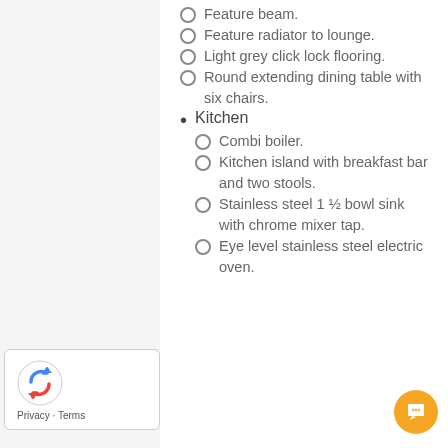Feature beam.
Feature radiator to lounge.
Light grey click lock flooring.
Round extending dining table with six chairs.
Kitchen
Combi boiler.
Kitchen island with breakfast bar and two stools.
Stainless steel 1 ½ bowl sink with chrome mixer tap.
Eye level stainless steel electric oven.